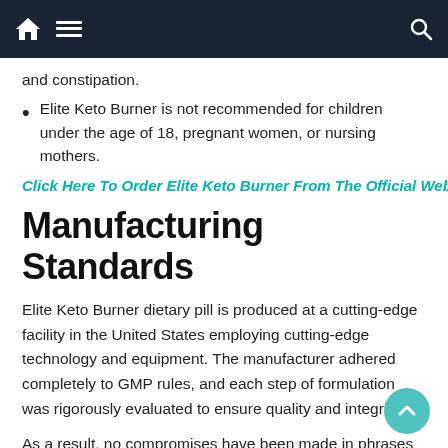Navigation bar with home, menu, and search icons
and constipation.
Elite Keto Burner is not recommended for children under the age of 18, pregnant women, or nursing mothers.
Click Here To Order Elite Keto Burner From The Official Website
Manufacturing Standards
Elite Keto Burner dietary pill is produced at a cutting-edge facility in the United States employing cutting-edge technology and equipment. The manufacturer adhered completely to GMP rules, and each step of formulation was rigorously evaluated to ensure quality and integrity.
As a result, no compromises have been made in phrases of manufacturing standards.